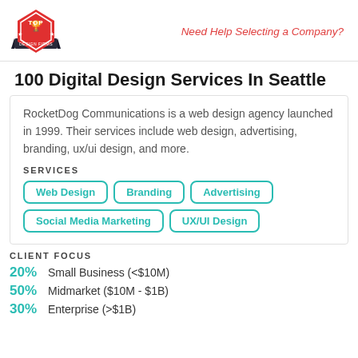Top Design Firms | Need Help Selecting a Company?
100 Digital Design Services In Seattle
RocketDog Communications is a web design agency launched in 1999. Their services include web design, advertising, branding, ux/ui design, and more.
SERVICES
Web Design
Branding
Advertising
Social Media Marketing
UX/UI Design
CLIENT FOCUS
20% Small Business (<$10M)
50% Midmarket ($10M - $1B)
30% Enterprise (>$1B)